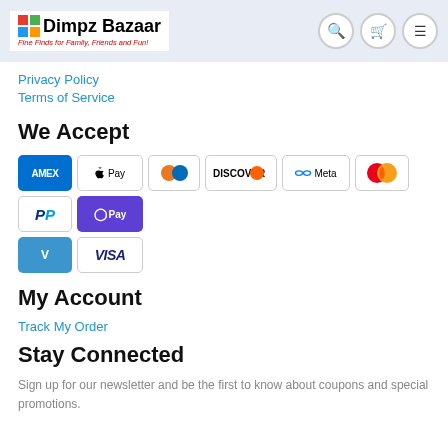Dimpz Bazaar — Fine Finds for Family, Friends and Fun!
Privacy Policy
Terms of Service
We Accept
[Figure (other): Payment method icons: American Express, Apple Pay, Diners Club, Discover, Meta Pay, Mastercard, PayPal, G Pay, Venmo, Visa]
My Account
Track My Order
Stay Connected
Sign up for our newsletter and be the first to know about coupons and special promotions.